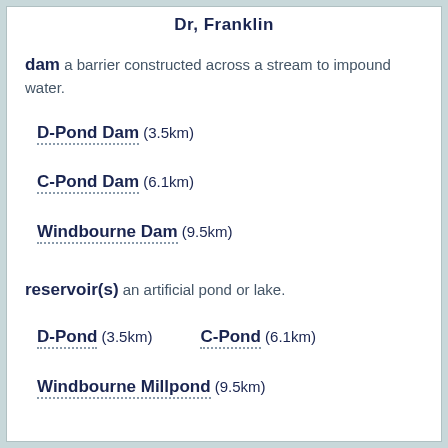Dr, Franklin
dam a barrier constructed across a stream to impound water.
D-Pond Dam (3.5km)
C-Pond Dam (6.1km)
Windbourne Dam (9.5km)
reservoir(s) an artificial pond or lake.
D-Pond (3.5km)   C-Pond (6.1km)
Windbourne Millpond (9.5km)